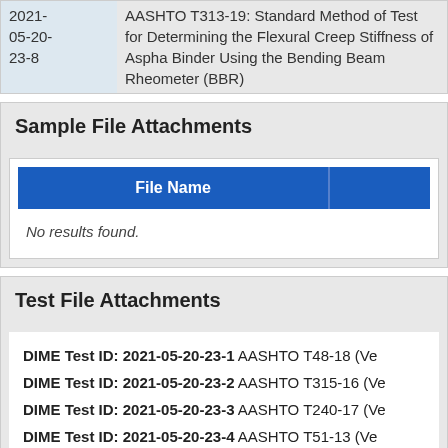| Date | Description |
| --- | --- |
| 2021-05-20-23-8 | AASHTO T313-19: Standard Method of Test for Determining the Flexural Creep Stiffness of Asphalt Binder Using the Bending Beam Rheometer (BBR) |
Sample File Attachments
| File Name |  |
| --- | --- |
No results found.
Test File Attachments
DIME Test ID: 2021-05-20-23-1 AASHTO T48-18 (Ve...
DIME Test ID: 2021-05-20-23-2 AASHTO T315-16 (Ve...
DIME Test ID: 2021-05-20-23-3 AASHTO T240-17 (Ve...
DIME Test ID: 2021-05-20-23-4 AASHTO T51-13 (Ve...
DIME Test ID: 2021-05-20-23-5 AASHTO T315-16 (Ve...